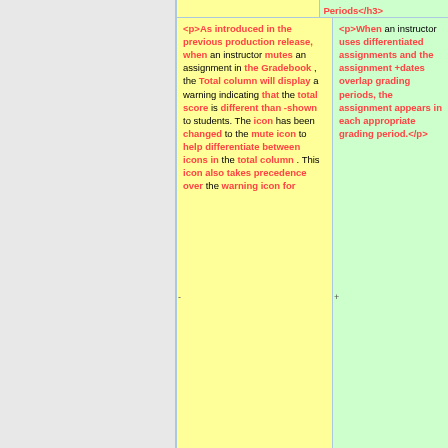|  | Changes | Grading Periods |
| --- | --- | --- |
|  | <p>As introduced in the previous production release, when an instructor mutes an assignment in the Gradebook, the Total column will display a warning indicating that the total score is different than shown to students. The icon has been changed to the mute icon to help differentiate between icons in the total column. This icon also takes precedence over the warning icon for... | <p>When an instructor uses differentiated assignments and the assignment dates overlap grading periods, the assignment appears in each appropriate grading period.</p> |